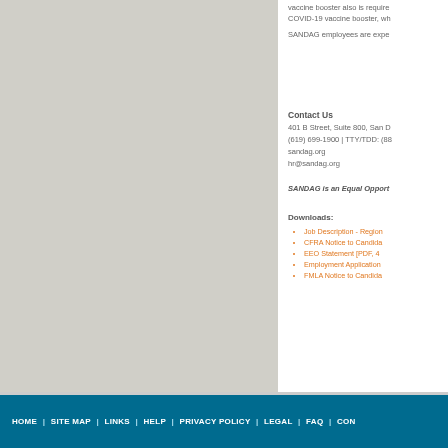vaccine booster also is required. COVID-19 vaccine booster, wh... SANDAG employees are expe...
Contact Us
401 B Street, Suite 800, San D...
(619) 699-1900 | TTY/TDD: (88...
sandag.org
hr@sandag.org
SANDAG is an Equal Opportu...
Downloads:
Job Description - Region...
CFRA Notice to Candida...
EEO Statement [PDF, 4...
Employment Application...
FMLA Notice to Candida...
HOME | SITE MAP | LINKS | HELP | PRIVACY POLICY | LEGAL | FAQ | CON...